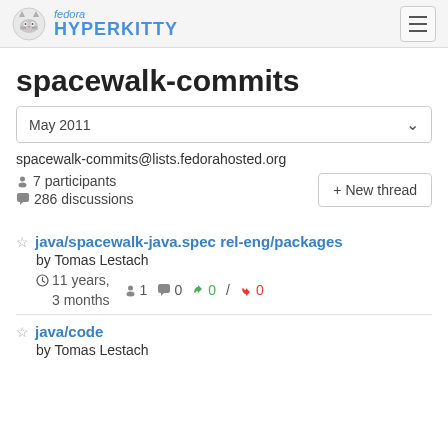fedora HYPERKITTY
spacewalk-commits
May 2011
spacewalk-commits@lists.fedorahosted.org
7 participants
286 discussions
java/spacewalk-java.spec rel-eng/packages by Tomas Lestach — 11 years, 3 months — 1 participant, 0 discussions, 0/0 votes
java/code by Tomas Lestach